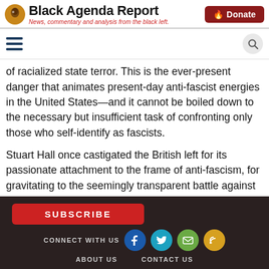Black Agenda Report — News, commentary and analysis from the black left.
of racialized state terror. This is the ever-present danger that animates present-day anti-fascist energies in the United States—and it cannot be boiled down to the necessary but insufficient task of confronting only those who self-identify as fascists.
Stuart Hall once castigated the British left for its passionate attachment to the frame of anti-fascism, for gravitating to the seemingly transparent battle against organized fascism while ignoring new modalities of authoritarianism. There
SUBSCRIBE | CONNECT WITH US | ABOUT US | CONTACT US